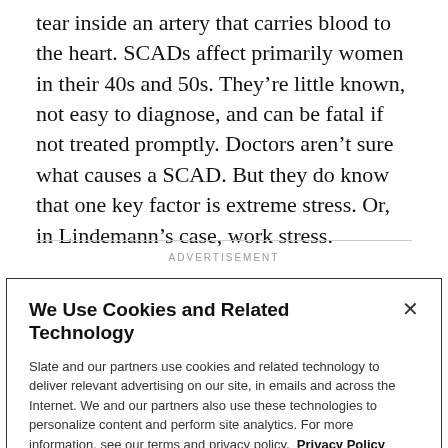tear inside an artery that carries blood to the heart. SCADs affect primarily women in their 40s and 50s. They're little known, not easy to diagnose, and can be fatal if not treated promptly. Doctors aren't sure what causes a SCAD. But they do know that one key factor is extreme stress. Or, in Lindemann's case, work stress.
ADVERTISEMENT
We Use Cookies and Related Technology
Slate and our partners use cookies and related technology to deliver relevant advertising on our site, in emails and across the Internet. We and our partners also use these technologies to personalize content and perform site analytics. For more information, see our terms and privacy policy.  Privacy Policy
OK